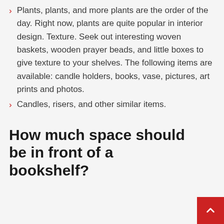Plants, plants, and more plants are the order of the day. Right now, plants are quite popular in interior design. Texture. Seek out interesting woven baskets, wooden prayer beads, and little boxes to give texture to your shelves. The following items are available: candle holders, books, vase, pictures, art prints and photos.
Candles, risers, and other similar items.
How much space should be in front of a bookshelf?